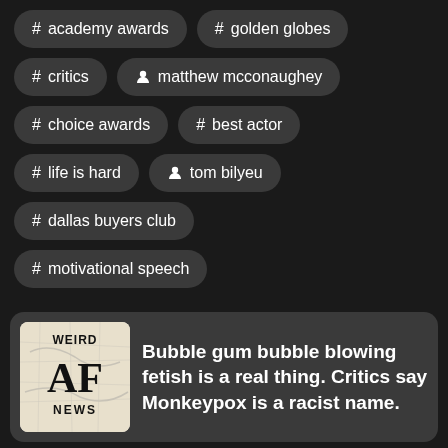# academy awards
# golden globes
# critics
person matthew mcconaughey
# choice awards
# best actor
# life is hard
person tom bilyeu
# dallas buyers club
# motivational speech
[Figure (logo): WEIRD AF NEWS logo with gothic blackletter AF on a map background]
Bubble gum bubble blowing fetish is a real thing. Critics say Monkeypox is a racist name.